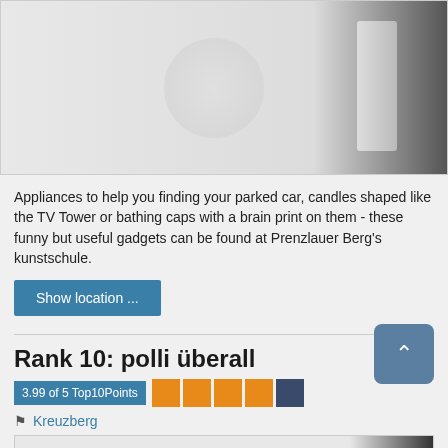[Figure (photo): Product photo area showing a light gray background with a faint circular shape and a rounded rectangular object, with a dark gradient on the right edge.]
Appliances to help you finding your parked car, candles shaped like the TV Tower or bathing caps with a brain print on them - these funny but useful gadgets can be found at Prenzlauer Berg's kunstschule.
Show location ...
Rank 10: polli überall
3.99 of 5 Top10Points
Kreuzberg
[Figure (photo): Partial photo at bottom of page, light gray with dark gradient on right.]